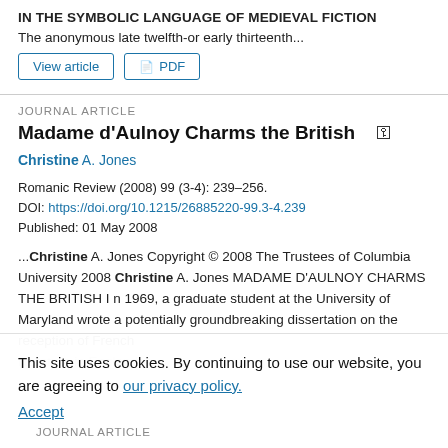IN THE SYMBOLIC LANGUAGE OF MEDIEVAL FICTION
The anonymous late twelfth-or early thirteenth...
View article  |  PDF
JOURNAL ARTICLE
Madame d'Aulnoy Charms the British
Christine A. Jones
Romanic Review (2008) 99 (3-4): 239–256.
DOI: https://doi.org/10.1215/26885220-99.3-4.239
Published: 01 May 2008
...Christine A. Jones Copyright © 2008 The Trustees of Columbia University 2008 Christine A. Jones MADAME D'AULNOY CHARMS THE BRITISH I n 1969, a graduate student at the University of Maryland wrote a potentially groundbreaking dissertation on the reception of French literature in England...
This site uses cookies. By continuing to use our website, you are agreeing to our privacy policy.
Accept
JOURNAL ARTICLE